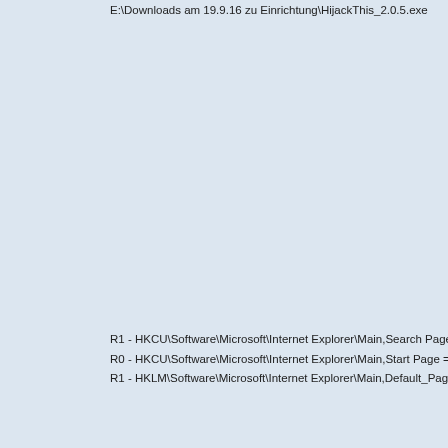E:\Downloads am 19.9.16 zu Einrichtung\HijackThis_2.0.5.exe
R1 - HKCU\Software\Microsoft\Internet Explorer\Main,Search Page =
R0 - HKCU\Software\Microsoft\Internet Explorer\Main,Start Page = h
R1 - HKLM\Software\Microsoft\Internet Explorer\Main,Default_Page